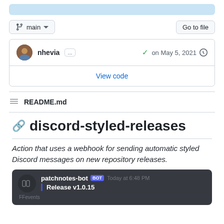[Figure (screenshot): Light blue top bar element from GitHub UI]
main  Go to file
[Figure (screenshot): Commit info box showing nhevia's commit on May 5, 2021 with green checkmark and View code link]
README.md
discord-styled-releases
Action that uses a webhook for sending automatic styled Discord messages on new repository releases.
[Figure (screenshot): Discord bot message preview showing patchnotes-bot BOT Today at 6:48 PM with Release v1.0.15 message]